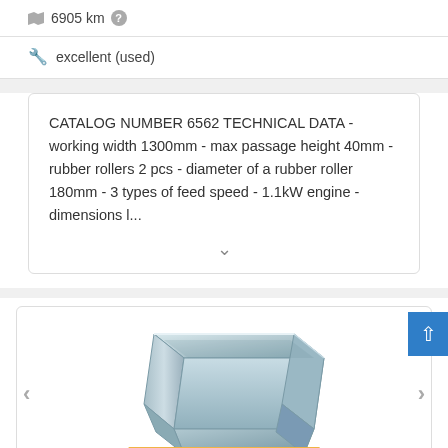6905 km
excellent (used)
CATALOG NUMBER 6562 TECHNICAL DATA - working width 1300mm - max passage height 40mm - rubber rollers 2 pcs - diameter of a rubber roller 180mm - 3 types of feed speed - 1.1kW engine - dimensions l...
[Figure (photo): Photo of a metal hopper/funnel shaped machine part with galvanized finish, viewed from an angle showing the square open top]
Save search query